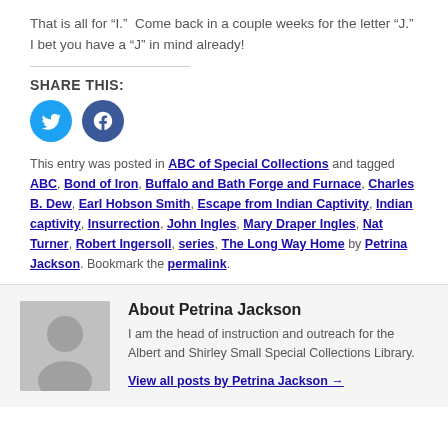That is all for “I.”  Come back in a couple weeks for the letter “J.” I bet you have a “J” in mind already!
SHARE THIS:
[Figure (other): Twitter and Facebook social sharing icon buttons]
This entry was posted in ABC of Special Collections and tagged ABC, Bond of Iron, Buffalo and Bath Forge and Furnace, Charles B. Dew, Earl Hobson Smith, Escape from Indian Captivity, Indian captivity, Insurrection, John Ingles, Mary Draper Ingles, Nat Turner, Robert Ingersoll, series, The Long Way Home by Petrina Jackson. Bookmark the permalink.
About Petrina Jackson
[Figure (photo): Grey placeholder avatar silhouette image for author Petrina Jackson]
I am the head of instruction and outreach for the Albert and Shirley Small Special Collections Library.
View all posts by Petrina Jackson →